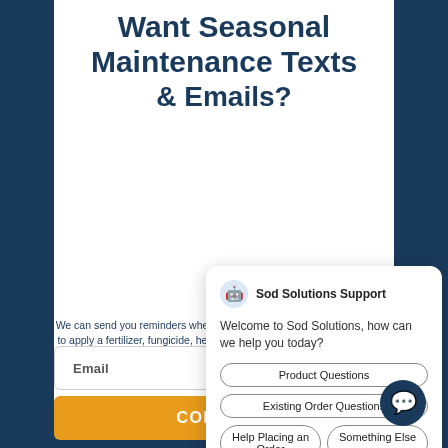Want Seasonal Maintenance Texts & Emails?
[Figure (screenshot): Chat support popup from Sod Solutions with header 'Sod Solutions Support', welcome message, and quick reply buttons: Product Questions, Existing Order Questions, Help Placing an Order, Something Else]
We can send you reminders when it's time to apply a fertilizer, fungicide, herbicide or insecticide. Plus - Special Promo Codes - sign up for reminders today!
Email
CONTINUE